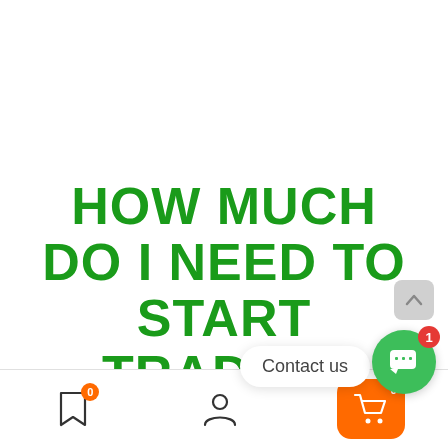HOW MUCH DO I NEED TO START TRADING WITH A FOREX ROBOT?
Forex robot scams encompass Expert Advisors (a...